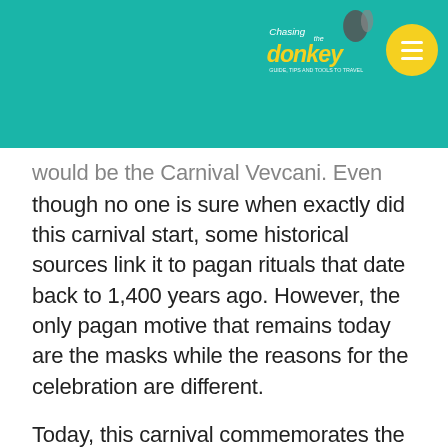[Figure (logo): Chasing the Donkey travel blog logo with donkey illustration on teal header background, with yellow circle menu button]
would be the Carnival Vevcani. Even though no one is sure when exactly did this carnival start, some historical sources link it to pagan rituals that date back to 1,400 years ago. However, the only pagan motive that remains today are the masks while the reasons for the celebration are different.
Today, this carnival commemorates the Orthodox Christian New Year and the ritual calling of St. Basil the Great. Because of this carnival, the small village of Vevcani is a